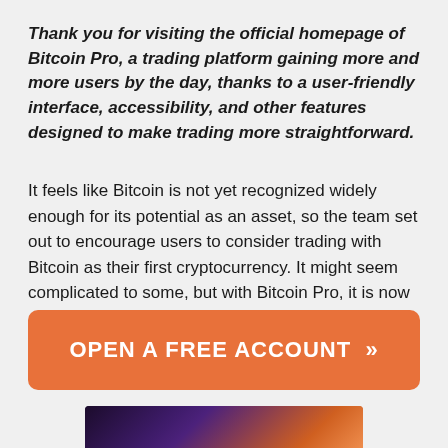Thank you for visiting the official homepage of Bitcoin Pro, a trading platform gaining more and more users by the day, thanks to a user-friendly interface, accessibility, and other features designed to make trading more straightforward.
It feels like Bitcoin is not yet recognized widely enough for its potential as an asset, so the team set out to encourage users to consider trading with Bitcoin as their first cryptocurrency. It might seem complicated to some, but with Bitcoin Pro, it is now accessible to anyone, from anywhere, and at any time. Read on to learn more.
[Figure (other): Orange rounded button with white bold text reading 'OPEN A FREE ACCOUNT »']
[Figure (screenshot): Partial screenshot of a laptop showing the Bitcoin Pro trading platform interface with dark purple and orange gradient background]